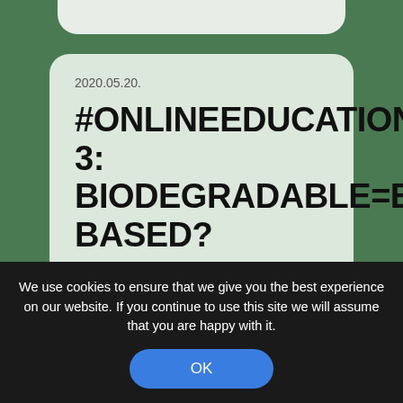[Figure (screenshot): Green background with a light card panel showing a blog post date and title]
2020.05.20.
#ONLINEEDUCATION-3: BIODEGRADABLE=BIO-BASED?
This is the 3rd Wednesday
We use cookies to ensure that we give you the best experience on our website. If you continue to use this site we will assume that you are happy with it.